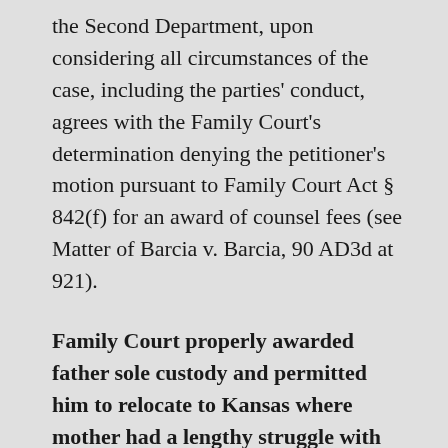the Second Department, upon considering all circumstances of the case, including the parties' conduct, agrees with the Family Court's determination denying the petitioner's motion pursuant to Family Court Act § 842(f) for an award of counsel fees (see Matter of Barcia v. Barcia, 90 AD3d at 921).
Family Court properly awarded father sole custody and permitted him to relocate to Kansas where mother had a lengthy struggle with alcohol abuse